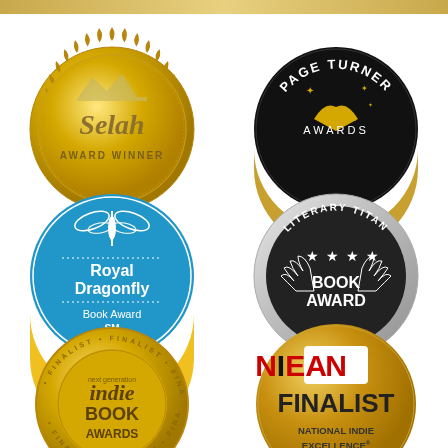[Figure (illustration): Six literary award badges/seals arranged in a 2x3 grid: Selah Award Winner (gold seal), Page Turner Awards Finalist (black circle), Royal Dragonfly Book Award First Place (blue circle), Literary Titan Book Award (silver scalloped seal), Next Generation Indie Book Awards Finalist (gold scalloped seal), NIEA Finalist National Indie Excellence Awards (gold circle).]